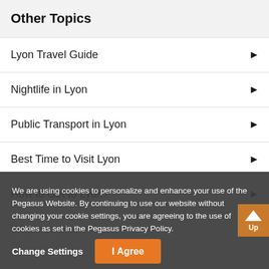Other Topics
Lyon Travel Guide
Nightlife in Lyon
Public Transport in Lyon
Best Time to Visit Lyon
How to Get to Lyon?
Where to Stay in Lyon
We are using cookies to personalize and enhance your use of the Pegasus Website. By continuing to use our website without changing your cookie settings, you are agreeing to the use of cookies as set in the Pegasus Privacy Policy.
Change Settings
I Agree